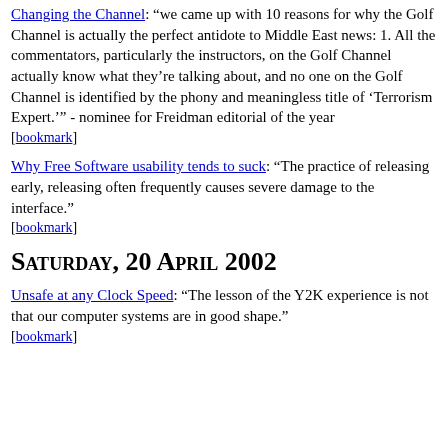Changing the Channel: "we came up with 10 reasons for why the Golf Channel is actually the perfect antidote to Middle East news: 1. All the commentators, particularly the instructors, on the Golf Channel actually know what they're talking about, and no one on the Golf Channel is identified by the phony and meaningless title of 'Terrorism Expert.'" - nominee for Freidman editorial of the year
[bookmark]
Why Free Software usability tends to suck: "The practice of releasing early, releasing often frequently causes severe damage to the interface."
[bookmark]
Saturday, 20 April 2002
Unsafe at any Clock Speed: "The lesson of the Y2K experience is not that our computer systems are in good shape."
[bookmark]